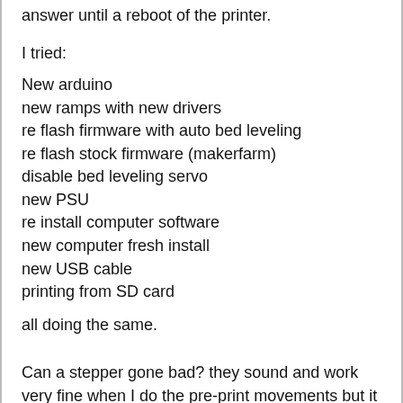answer until a reboot of the printer.
I tried:
New arduino
new ramps with new drivers
re flash firmware with auto bed leveling
re flash stock firmware (makerfarm)
disable bed leveling servo
new PSU
re install computer software
new computer fresh install
new USB cable
printing from SD card
all doing the same.
Can a stepper gone bad? they sound and work very fine when I do the pre-print movements but it will only print for a little while then quit. Sometimes a sudden stop or sometimes a sort of down stepping like its buffering more and more moving slower and slower. Sometimes the motors squeal instead of move after I stopped the print. A reboot and they